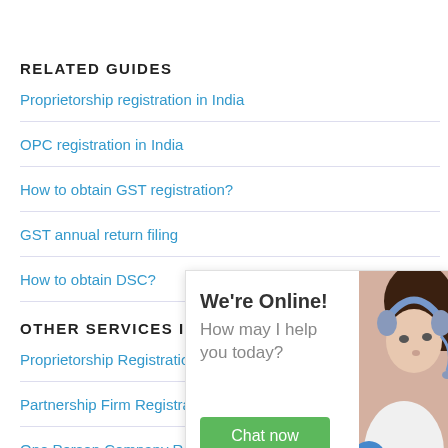RELATED GUIDES
Proprietorship registration in India
OPC registration in India
How to obtain GST registration?
GST annual return filing
How to obtain DSC?
OTHER SERVICES IN MI
Proprietorship Registratio
Partnership Firm Registrat
One Person Company Reg
[Figure (photo): Chat widget showing a customer support agent wearing a headset, with text 'We're Online! How may I help you today?' and a green 'Chat now' button.]